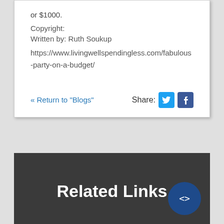or $1000.
Copyright:
Written by: Ruth Soukup
https://www.livingwellspendingless.com/fabulous-party-on-a-budget/
« Return to "Blogs"
Share:
Related Links